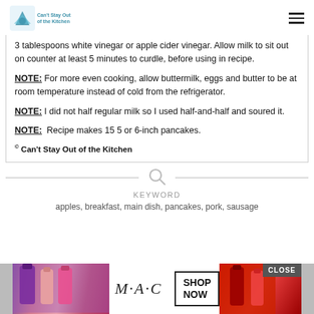Can't Stay Out of the Kitchen
3 tablespoons white vinegar or apple cider vinegar. Allow milk to sit out on counter at least 5 minutes to curdle, before using in recipe.
NOTE: For more even cooking, allow buttermilk, eggs and butter to be at room temperature instead of cold from the refrigerator.
NOTE: I did not half regular milk so I used half-and-half and soured it.
NOTE: Recipe makes 15 5 or 6-inch pancakes. © Can't Stay Out of the Kitchen
KEYWORD
apples, breakfast, main dish, pancakes, pork, sausage
[Figure (photo): MAC cosmetics advertisement with lipsticks and SHOP NOW button]